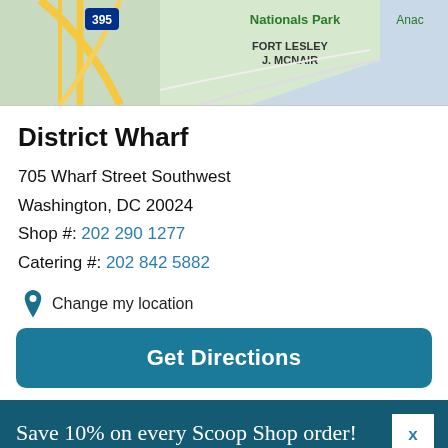[Figure (map): Partial map showing Washington DC area near District Wharf, with Nationals Park and Fort Lesley J. McNair labeled, road 395 visible, green and blue areas indicating parks and water.]
District Wharf
705 Wharf Street Southwest
Washington, DC 20024
Shop #: 202 290 1277
Catering #: 202 842 5882
Change my location
Get Directions
Save 10% on every Scoop Shop order! Sign up to be a Flavor Fanatic today.
SIGN UP NOW